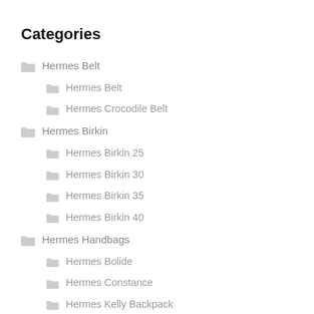Categories
Hermes Belt
Hermes Belt
Hermes Crocodile Belt
Hermes Birkin
Hermes Birkin 25
Hermes Birkin 30
Hermes Birkin 35
Hermes Birkin 40
Hermes Handbags
Hermes Bolide
Hermes Constance
Hermes Kelly Backpack